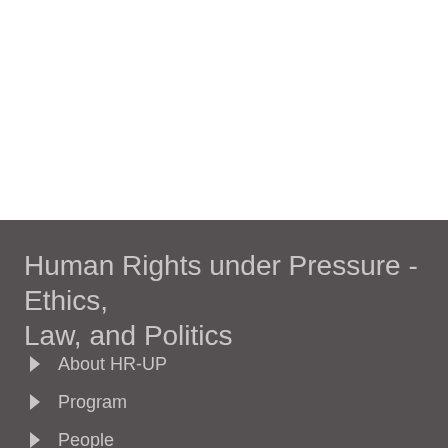Human Rights under Pressure - Ethics, Law, and Politics
About HR-UP
Program
People